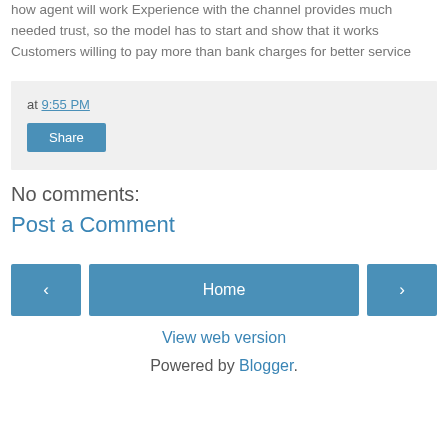how agent will work Experience with the channel provides much needed trust, so the model has to start and show that it works Customers willing to pay more than bank charges for better service
at 9:55 PM
Share
No comments:
Post a Comment
‹
Home
›
View web version
Powered by Blogger.